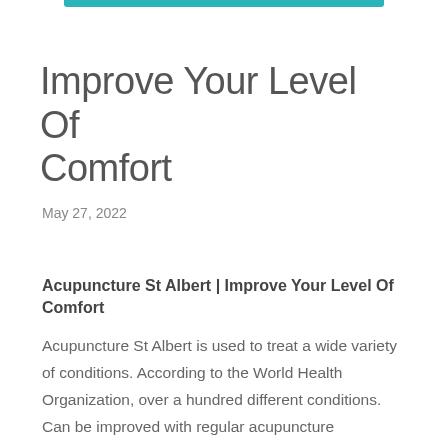Improve Your Level Of Comfort
May 27, 2022
Acupuncture St Albert | Improve Your Level Of Comfort
Acupuncture St Albert is used to treat a wide variety of conditions. According to the World Health Organization, over a hundred different conditions. Can be improved with regular acupuncture treatments.